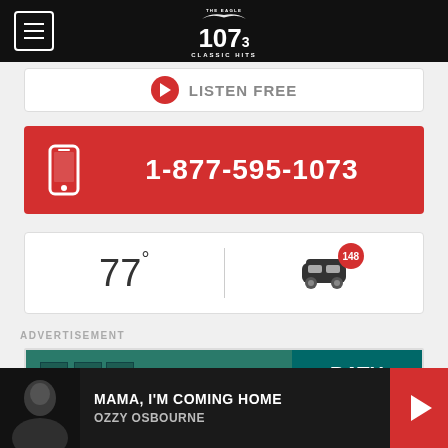[Figure (logo): The Eagle 107.3 Classic Hits radio station logo with eagle wings graphic, white on black header with hamburger menu button]
[Figure (screenshot): Partial listen live button with red play circle and truncated text]
1-877-595-1073
77°
[Figure (infographic): Car/traffic icon with red badge showing 148]
ADVERTISEMENT
[Figure (photo): Bath Fitter advertisement with teal bathroom and Bath Fitter logo]
MAMA, I'M COMING HOME
OZZY OSBOURNE